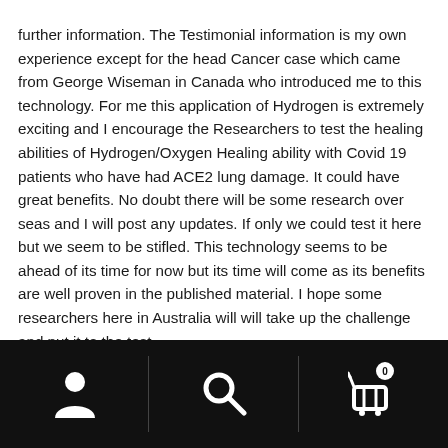further information. The Testimonial information is my own experience except for the head Cancer case which came from George Wiseman in Canada who introduced me to this technology. For me this application of Hydrogen is extremely exciting and I encourage the Researchers to test the healing abilities of Hydrogen/Oxygen Healing ability with Covid 19 patients who have had ACE2 lung damage. It could have great benefits. No doubt there will be some research over seas and I will post any updates. If only we could test it here but we seem to be stifled. This technology seems to be ahead of its time for now but its time will come as its benefits are well proven in the published material. I hope some researchers here in Australia will will take up the challenge and put it to the test.
Navigation bar with user icon, search icon, and cart icon (badge: 0)